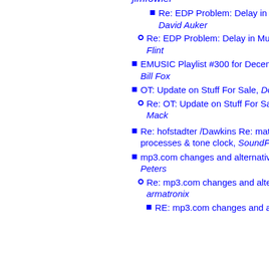jimfowler
Re: EDP Problem: Delay in Mute mode, David Auker
Re: EDP Problem: Delay in Mute mode, Kim Flint
EMUSIC Playlist #300 for December 19, 2002, Bill Fox
OT: Update on Stuff For Sale, Doug Cox
Re: OT: Update on Stuff For Sale, Kirkland Mack
Re: hofstadter /Dawkins Re: mathematic processes & tone clock, SoundFNR
mp3.com changes and alternatives?, Michael Peters
Re: mp3.com changes and alternatives?, armatronix
RE: mp3.com changes and alternatives?,